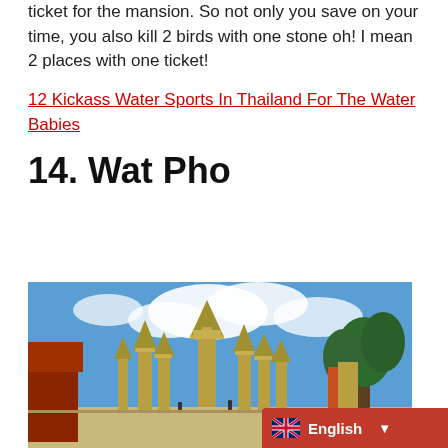ticket for the mansion. So not only you save on your time, you also kill 2 birds with one stone oh! I mean 2 places with one ticket!
12 Kickass Water Sports In Thailand For The Water Babies
14. Wat Pho
[Figure (photo): Photograph of Wat Pho temple complex in Bangkok, Thailand, showing multiple golden chedis (stupas) with ornate decorations against a blue sky with white clouds, with trees visible on the right side.]
English